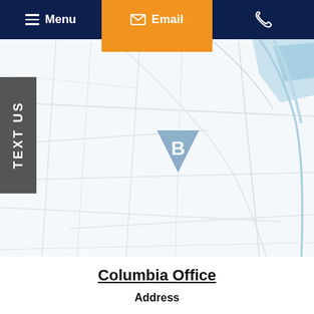Menu | Email | Phone
[Figure (map): Street map showing Columbia office location with a blue triangle B logo marker in the center. Light blue road lines on white background. A blue highlighted region visible in the upper right corner.]
TEXT US
Columbia Office
Address